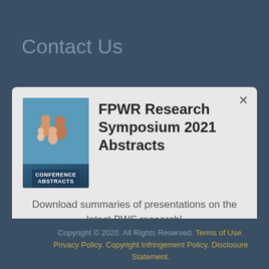Contact Us
[Figure (screenshot): Modal popup showing FPWR Research Symposium 2021 Abstracts with book cover thumbnail, description text, and download button]
FPWR Research Symposium 2021 Abstracts
Download summaries of presentations on the latest PWS research!
Download now
Copyright © 2020. All Rights Reserved. Terms of Use. Privacy Policy. Copyright Infringement Policy. Disclosure Statement.